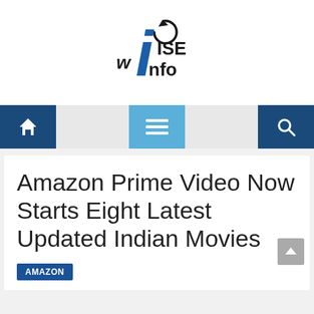[Figure (logo): WiseInfo logo with stylized blue italic 'i' and arrow cursor icon, text reads 'wISE nfo']
[Figure (infographic): Navigation bar with dark blue home icon button on left, light blue hamburger menu button in center, dark blue search icon button on right]
Amazon Prime Video Now Starts Eight Latest Updated Indian Movies
AMAZON